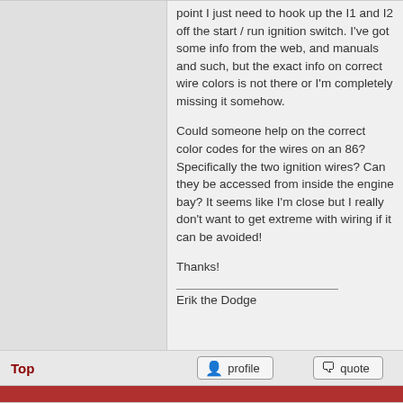point I just need to hook up the I1 and I2 off the start / run ignition switch. I've got some info from the web, and manuals and such, but the exact info on correct wire colors is not there or I'm completely missing it somehow.

Could someone help on the correct color codes for the wires on an 86? Specifically the two ignition wires? Can they be accessed from inside the engine bay? It seems like I'm close but I really don't want to get extreme with wiring if it can be avoided!

Thanks!
Erik the Dodge
Top
profile
quote
Display posts from previous: All posts Sort by Post time